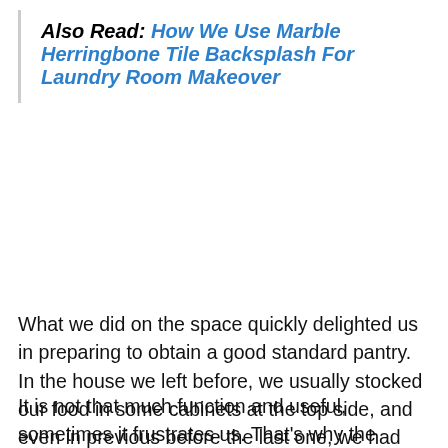Also Read: How We Use Marble Herringbone Tile Backsplash For Laundry Room Makeover
What we did on the space quickly delighted us in preparing to obtain a good standard pantry. In the house we left before, we usually stocked our food in some cabinets at the top side, and even in previous before the last one, we had good looking intense pantry cabinet that is somehow complicated.
It is not that much function and useful, sometimes it frustrates us. That’s why the process of getting our standard pantry closet